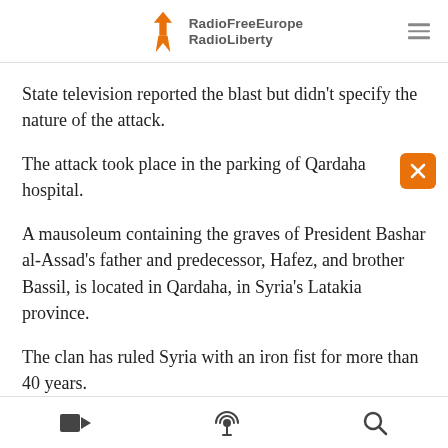RadioFreeEurope RadioLiberty
State television reported the blast but didn't specify the nature of the attack.
The attack took place in the parking of Qardaha hospital.
A mausoleum containing the graves of President Bashar al-Assad's father and predecessor, Hafez, and brother Bassil, is located in Qardaha, in Syria's Latakia province.
The clan has ruled Syria with an iron fist for more than 40 years.
video | podcast | search